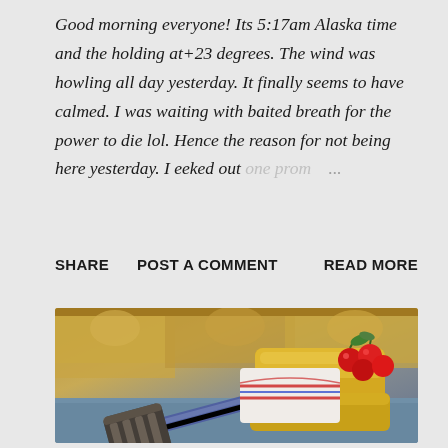Good morning everyone! Its 5:17am Alaska time and the holding at+23 degrees. The wind was howling all day yesterday. It finally seems to have calmed. I was waiting with baited breath for the power to die lol. Hence the reason for not being here yesterday. I eeked out one prom ...
SHARE   POST A COMMENT   READ MORE
[Figure (photo): A photo showing a kitchen spatula/turner with slots, a decorative ceramic butter dish or container with a lid decorated with cherries motif, and what appears to be a folded cloth or napkin with red and blue stripes, set on a wooden surface with decorative carved wooden background.]